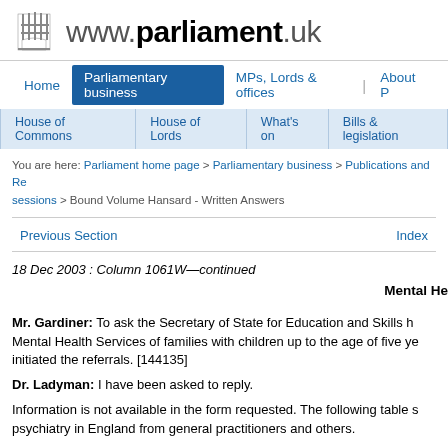www.parliament.uk
Home | Parliamentary business | MPs, Lords & offices | About Parliament
House of Commons | House of Lords | What's on | Bills & legislation
You are here: Parliament home page > Parliamentary business > Publications and Records > sessions > Bound Volume Hansard - Written Answers
Previous Section | Index
18 Dec 2003 : Column 1061W—continued
Mental Health
Mr. Gardiner: To ask the Secretary of State for Education and Skills how many referrals were made to Child and Adolescent Mental Health Services of families with children up to the age of five years; and who initiated the referrals. [144135]
Dr. Ladyman: I have been asked to reply.
Information is not available in the form requested. The following table shows referrals to child psychiatry in England from general practitioners and others.